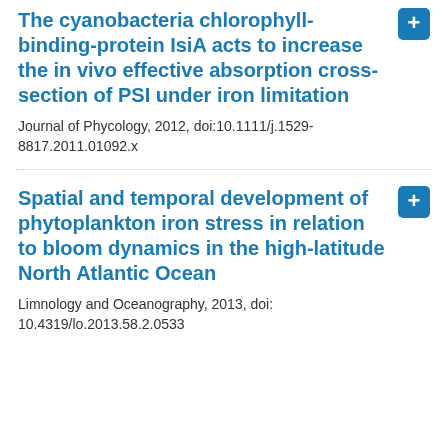The cyanobacteria chlorophyll-binding-protein IsiA acts to increase the in vivo effective absorption cross-section of PSI under iron limitation
Journal of Phycology, 2012, doi:10.1111/j.1529-8817.2011.01092.x
Spatial and temporal development of phytoplankton iron stress in relation to bloom dynamics in the high-latitude North Atlantic Ocean
Limnology and Oceanography, 2013, doi: 10.4319/lo.2013.58.2.0533